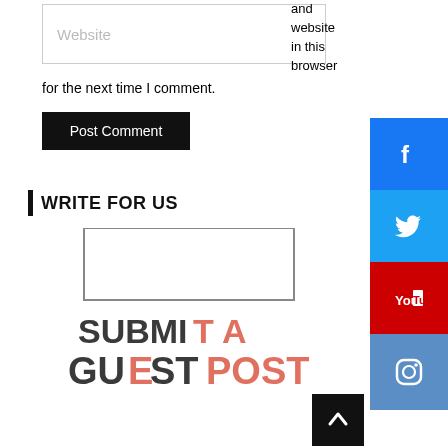Website
and website in this browser
for the next time I comment.
Post Comment
WRITE FOR US
[Figure (illustration): Submit a Guest Post graphic with box outline and large bold text reading SUBMIT A GUEST POST in dark grey and salmon/coral colors]
[Figure (infographic): Social media sidebar icons: Facebook (blue), Twitter (light blue), YouTube (red), Instagram (steel blue)]